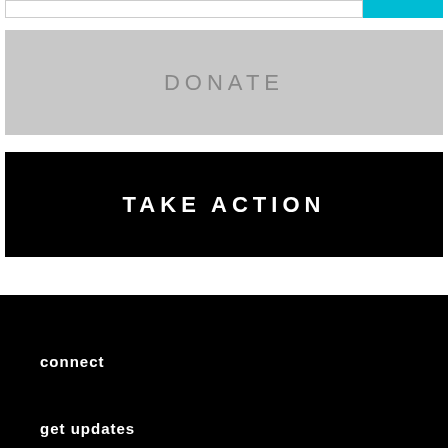[Figure (other): Top bar with white input field on left and teal button on right]
DONATE
TAKE ACTION
connect
get updates